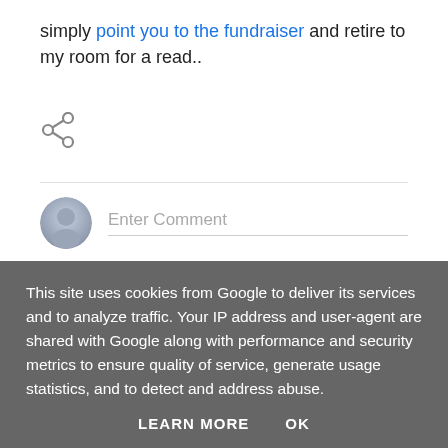simply point you to the fundraiser and retire to my room for a read..
[Figure (other): Share icon (social sharing button)]
Enter Comment
This site uses cookies from Google to deliver its services and to analyze traffic. Your IP address and user-agent are shared with Google along with performance and security metrics to ensure quality of service, generate usage statistics, and to detect and address abuse.
LEARN MORE   OK